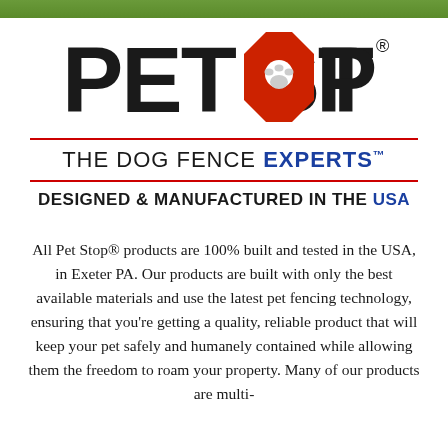[Figure (logo): Pet Stop logo with large bold black text 'PET STOP' with a red octagon stop sign replacing the letter O, containing a white paw print. A registered trademark symbol appears after the P in STOP.]
THE DOG FENCE EXPERTS™
DESIGNED & MANUFACTURED IN THE USA
All Pet Stop® products are 100% built and tested in the USA, in Exeter PA. Our products are built with only the best available materials and use the latest pet fencing technology, ensuring that you're getting a quality, reliable product that will keep your pet safely and humanely contained while allowing them the freedom to roam your property. Many of our products are multi-